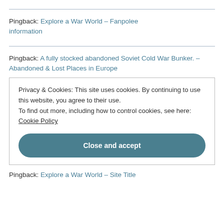Pingback: Explore a War World – Fanpolee information
Pingback: A fully stocked abandoned Soviet Cold War Bunker. – Abandoned & Lost Places in Europe
Privacy & Cookies: This site uses cookies. By continuing to use this website, you agree to their use. To find out more, including how to control cookies, see here: Cookie Policy
Close and accept
Pingback: Explore a War World – Site Title